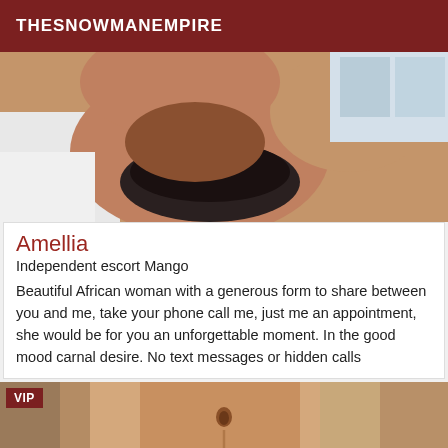THESNOWMANEMPIRE
[Figure (photo): Close-up photo of a person's neck and lower face area]
Amellia
Independent escort Mango
Beautiful African woman with a generous form to share between you and me, take your phone call me, just me an appointment, she would be for you an unforgettable moment. In the good mood carnal desire. No text messages or hidden calls
[Figure (photo): Photo of a person's torso/midsection with VIP badge overlay]